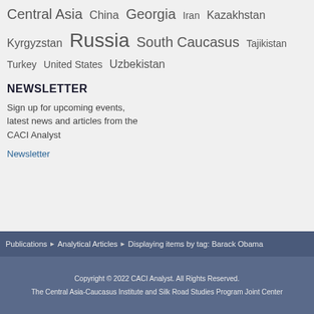Central Asia China Georgia Iran Kazakhstan Kyrgyzstan Russia South Caucasus Tajikistan Turkey United States Uzbekistan
NEWSLETTER
Sign up for upcoming events, latest news and articles from the CACI Analyst
Newsletter
Publications ▶ Analytical Articles ▶ Displaying items by tag: Barack Obama
Copyright © 2022 CACI Analyst. All Rights Reserved. The Central Asia-Caucasus Institute and Silk Road Studies Program Joint Center